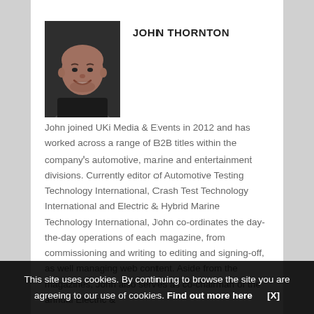[Figure (photo): Black and white headshot photo of John Thornton, a bald man smiling, wearing a dark shirt]
JOHN THORNTON
John joined UKi Media & Events in 2012 and has worked across a range of B2B titles within the company's automotive, marine and entertainment divisions. Currently editor of Automotive Testing Technology International, Crash Test Technology International and Electric & Hybrid Marine Technology International, John co-ordinates the day-the-day operations of each magazine, from commissioning and writing to editing and signing-off, as well managing web content. Aside from the magazines, John also serves as co-chairman of the annual Electric &
This site uses cookies. By continuing to browse the site you are agreeing to our use of cookies. Find out more here    [X]